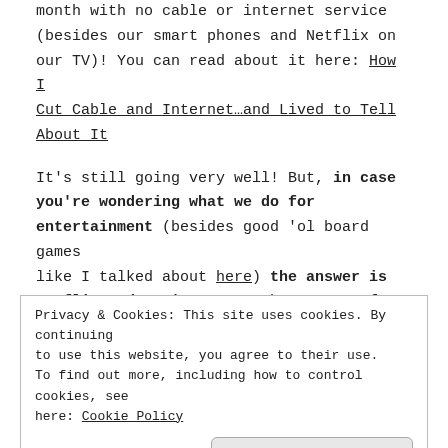month with no cable or internet service (besides our smart phones and Netflix on our TV)! You can read about it here: How I Cut Cable and Internet…and Lived to Tell About It
It's still going very well! But, in case you're wondering what we do for entertainment (besides good 'ol board games like I talked about here) the answer is Netflix and DVD's. Yep…we have TONS of them which is part of the reason why I felt
Privacy & Cookies: This site uses cookies. By continuing to use this website, you agree to their use. To find out more, including how to control cookies, see here: Cookie Policy
Close and accept
control over what the kids watch when they